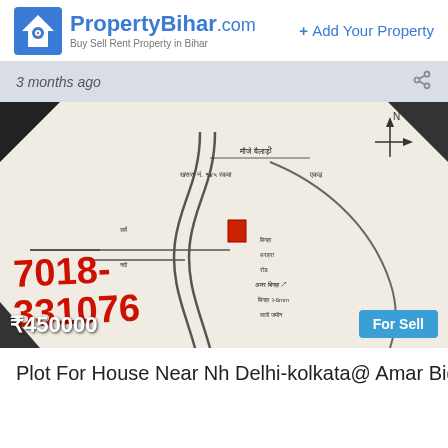PropertyBihar.com — Buy Sell Rent Property in Bihar | + Add Your Property
3 months ago
[Figure (photo): Handwritten land map/sketch with annotations in Devanagari script and red Hindi numerals 7018-331076 overlaid, showing roads and plot boundaries. Price ₹450000 shown at bottom left. 'For Sell' badge at bottom right.]
Plot For House Near Nh Delhi-kolkata@ Amar Biga